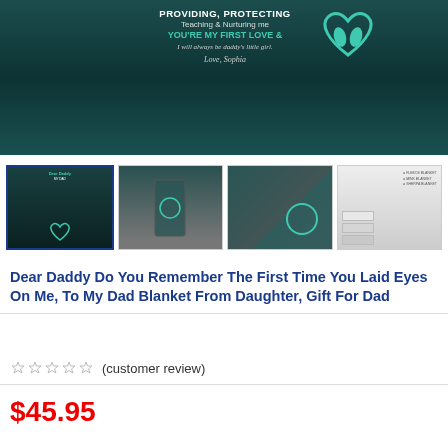[Figure (photo): Close-up of a dark teal/green blanket with text reading 'PROVIDING, PROTECTING', 'Teaching & Nurturing me', 'YOU'RE MY FIRST LOVE &', 'I will always be daddy's little girl.', 'Love, Sophia', and a teal heart with baby footprints graphic on the right.]
[Figure (photo): Row of four product thumbnail images: first selected thumbnail showing blanket face with teal heart logo, second showing full hanging blanket, third showing corner detail of blanket, fourth showing stacked blanket size comparison (fleece, mink, sherpa).]
Dear Daddy Do You Remember The First Time You Laid Eyes On Me, To My Dad Blanket From Daughter, Gift For Dad
(customer review)
$45.95